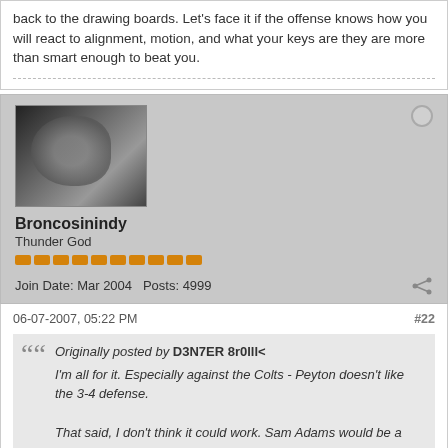back to the drawing boards. Let's face it if the offense knows how you will react to alignment, motion, and what your keys are they are more than smart enough to beat you.
Broncosinindy
Thunder God
Join Date: Mar 2004   Posts: 4999
06-07-2007, 05:22 PM   #22
Originally posted by D3N7ER 8r0lll<
I'm all for it. Especially against the Colts - Peyton doesn't like the 3-4 defense.

That said, I don't think it could work. Sam Adams would be a good NT, but I don't think the ends would be big enough or good enough. How would Jarvis Moss work out as an OLB? and Dumervil for that matter? And Ian Gold is too small for LB in the 3-4, but could he play safety?